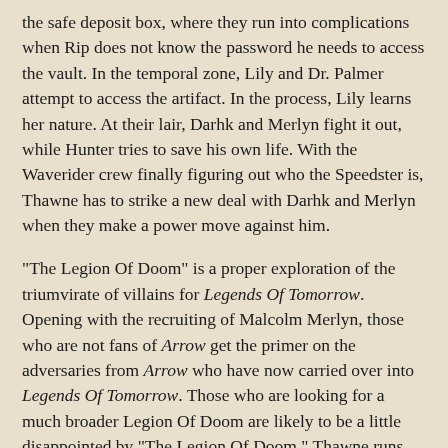the safe deposit box, where they run into complications when Rip does not know the password he needs to access the vault. In the temporal zone, Lily and Dr. Palmer attempt to access the artifact. In the process, Lily learns her nature. At their lair, Darhk and Merlyn fight it out, while Hunter tries to save his own life. With the Waverider crew finally figuring out who the Speedster is, Thawne has to strike a new deal with Darhk and Merlyn when they make a power move against him.
"The Legion Of Doom" is a proper exploration of the triumvirate of villains for Legends Of Tomorrow. Opening with the recruiting of Malcolm Merlyn, those who are not fans of Arrow get the primer on the adversaries from Arrow who have now carried over into Legends Of Tomorrow. Those who are looking for a much broader Legion Of Doom are likely to be a little disappointed by "The Legion Of Doom." Thawne runs off at one moment for assistance and viewers might hope he is returning with Grodd in order to read Rip's thoughts, but that is not the case. Instead, "The Legion Of Doom" is limited to the three villains already established.